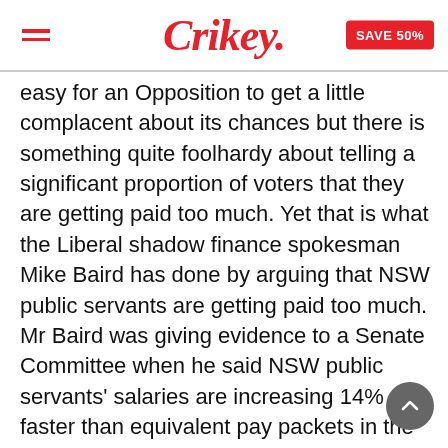Crikey. SAVE 50%
easy for an Opposition to get a little complacent about its chances but there is something quite foolhardy about telling a significant proportion of voters that they are getting paid too much. Yet that is what the Liberal shadow finance spokesman Mike Baird has done by arguing that NSW public servants are getting paid too much. Mr Baird was giving evidence to a Senate Committee when he said NSW public servants' salaries are increasing 14% faster than equivalent pay packets in the private sector.
He accused the State Labor Government of squandering unforseen revenue windfalls and underfunding public sector superannuation. All very